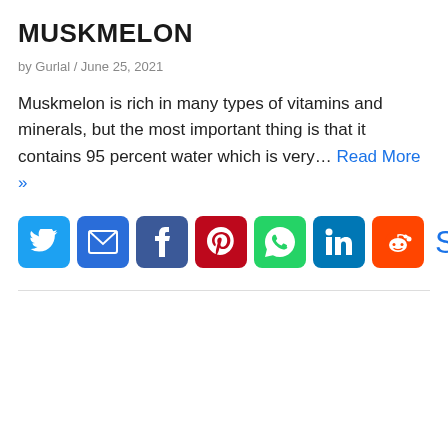MUSKMELON
by Gurlal / June 25, 2021
Muskmelon is rich in many types of vitamins and minerals, but the most important thing is that it contains 95 percent water which is very… Read More »
[Figure (infographic): Social share buttons row: Twitter, Email, Facebook, Pinterest, WhatsApp, LinkedIn, Reddit icons followed by 'Share' text label]